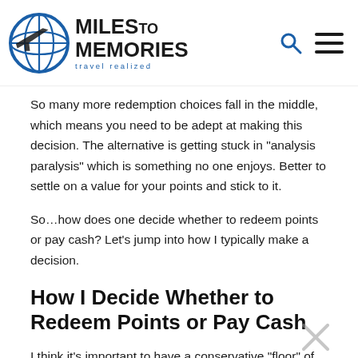Miles to Memories — travel realized
So many more redemption choices fall in the middle, which means you need to be adept at making this decision. The alternative is getting stuck in “analysis paralysis” which is something no one enjoys. Better to settle on a value for your points and stick to it.
So…how does one decide whether to redeem points or pay cash? Let’s jump into how I typically make a decision.
How I Decide Whether to Redeem Points or Pay Cash
I think it’s important to have a conservative “floor” of value that I like to get out of my points. This isn’t the average value I get from my award redemptions. This also might not be the